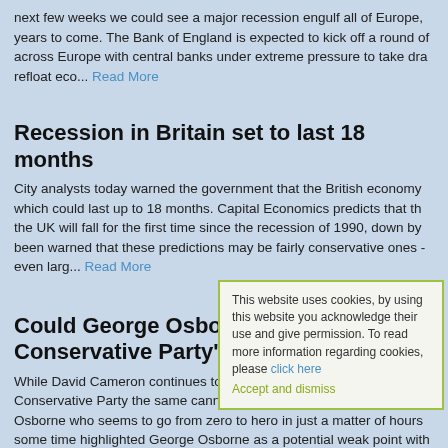next few weeks we could see a major recession engulf all of Europe, years to come. The Bank of England is expected to kick off a round of across Europe with central banks under extreme pressure to take dra refloat eco... Read More
Recession in Britain set to last 18 months
City analysts today warned the government that the British economy which could last up to 18 months. Capital Economics predicts that th the UK will fall for the first time since the recession of 1990, down by been warned that these predictions may be fairly conservative ones - even larg... Read More
Could George Osborne be the Conservative Party's tr
While David Cameron continues to attract positive headlines regardi Conservative Party the same cannot be said of shadow Chancellor of Osborne who seems to go from zero to hero in just a matter of hours some time highlighted George Osborne as a potential weak point with up but ultimately he has... Rea
'Biggest UK banking lo
RBS, Britain's second-biggest bank, is set to announce the biggest
This website uses cookies, by using this website you acknowledge their use and give permission. To read more information regarding cookies, please click here Accept and dismiss